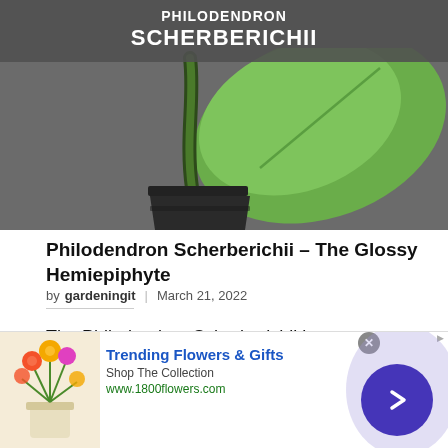[Figure (photo): Philodendron Scherberichii plant in a black pot with a large green leaf, overlaid with a dark grey banner showing the plant name in bold white uppercase text: PHILODENDRON SCHERBERICHII]
Philodendron Scherberichii – The Glossy Hemiepiphyte
by gardeningit | March 21, 2022
The Philodendron Scherberichii is a hemiepiphyte plant of its genus. Its leaves are bright green in color and have lobes on them. These lobes add to
[Figure (advertisement): Advertisement banner for 1800flowers.com: Trending Flowers & Gifts. Shop The Collection. www.1800flowers.com. Shows colorful flower bouquet image on left and a blue circular arrow button on right.]